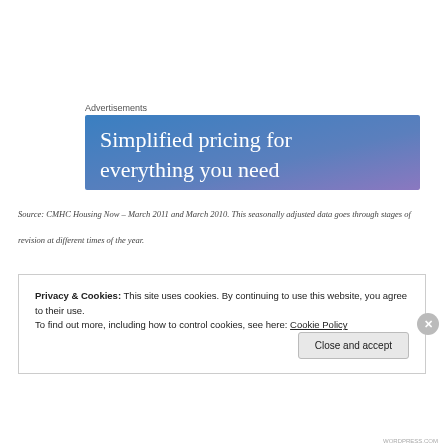Advertisements
[Figure (other): Advertisement banner with blue-to-purple gradient background and white serif text reading 'Simplified pricing for everything you need']
Source: CMHC Housing Now – March 2011 and March 2010. This seasonally adjusted data goes through stages of revision at different times of the year.
Privacy & Cookies: This site uses cookies. By continuing to use this website, you agree to their use.
To find out more, including how to control cookies, see here: Cookie Policy
Close and accept